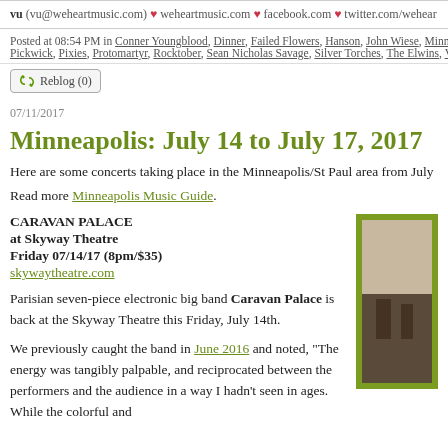vu (vu@weheartmusic.com) ♥ weheartmusic.com ♥ facebook.com ♥ twitter.com/wehear
Posted at 08:54 PM in Conner Youngblood, Dinner, Failed Flowers, Hanson, John Wiese, Minne... Pickwick, Pixies, Protomartyr, Rocktober, Sean Nicholas Savage, Silver Torches, The Elwins, Vu...
Reblog (0)
07/11/2017
Minneapolis: July 14 to July 17, 2017
Here are some concerts taking place in the Minneapolis/St Paul area from July 14
Read more Minneapolis Music Guide.
CARAVAN PALACE
at Skyway Theatre
Friday 07/14/17 (8pm/$35)
skywaytheatre.com
Parisian seven-piece electronic big band Caravan Palace is back at the Skyway Theatre this Friday, July 14th.
We previously caught the band in June 2016 and noted, "The energy was tangibly palpable, and reciprocated between the performers and the audience in a way I hadn't seen in ages. While the colorful and